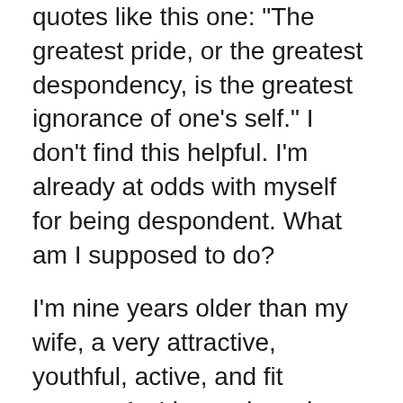quotes like this one: "The greatest pride, or the greatest despondency, is the greatest ignorance of one's self." I don't find this helpful. I'm already at odds with myself for being despondent. What am I supposed to do?
I'm nine years older than my wife, a very attractive, youthful, active, and fit person. As I have slowed down in my level of activity, I've noticed fragments of shame and guilt creeping into our relationship. I feel like I'm fighting off the gravitational pull towards becoming a grumpy, old man. When she invites me to go for a walk, instead of answering with an enthusiastic “Sure,” like I used to do, I experience a surge of anger at myself because I'd rather read a book or watch NBA basketball than drag my stiff joints through the neighborhood for a mile or so.
The other day I decided it was past time for me to lean into